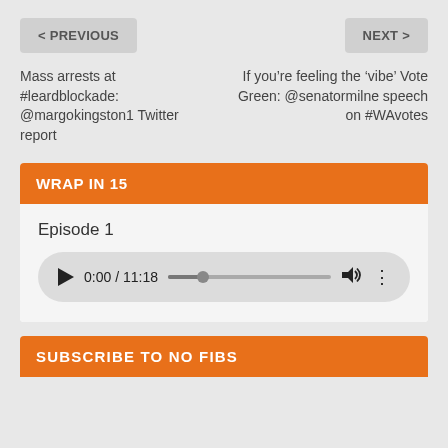< PREVIOUS
NEXT >
Mass arrests at #leardblockade: @margokingston1 Twitter report
If you're feeling the 'vibe' Vote Green: @senatormilne speech on #WAvotes
WRAP IN 15
Episode 1
[Figure (other): Audio player widget showing 0:00 / 11:18 with play button, progress bar, volume and more options icons]
SUBSCRIBE TO NO FIBS